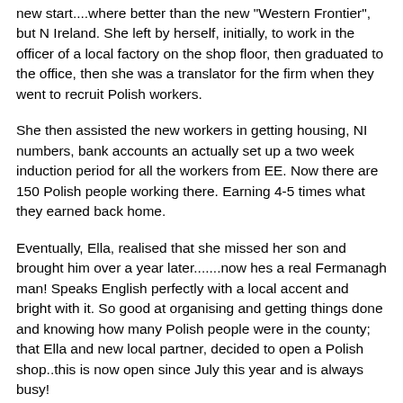new start....where better than the new "Western Frontier", but N Ireland. She left by herself, initially, to work in the officer of a local factory on the shop floor, then graduated to the office, then she was a translator for the firm when they went to recruit Polish workers.
She then assisted the new workers in getting housing, NI numbers, bank accounts an actually set up a two week induction period for all the workers from EE. Now there are 150 Polish people working there. Earning 4-5 times what they earned back home.
Eventually, Ella, realised that she missed her son and brought him over a year later.......now hes a real Fermanagh man! Speaks English perfectly with a local accent and bright with it. So good at organising and getting things done and knowing how many Polish people were in the county; that Ella and new local partner, decided to open a Polish shop..this is now open since July this year and is always busy!
The transformation is almost complete, her sister has joined her